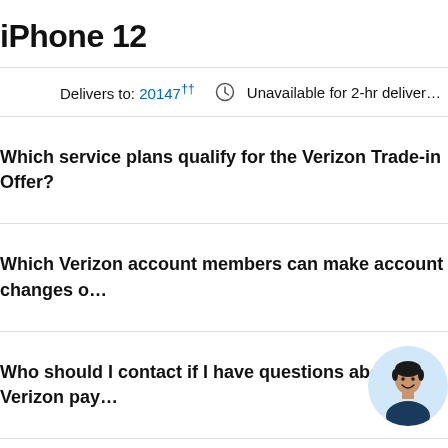iPhone 12
Delivers to: 20147†† Unavailable for 2-hr deliver…
Which service plans qualify for the Verizon Trade-in Offer?
Which Verizon account members can make account changes o…
Who should I contact if I have questions about my Verizon pay…
Who should I contact if I have questions about my V… trad…
[Figure (photo): Circular avatar photo of a smiling person with short hair, wearing a dark shirt, on a light blue background]